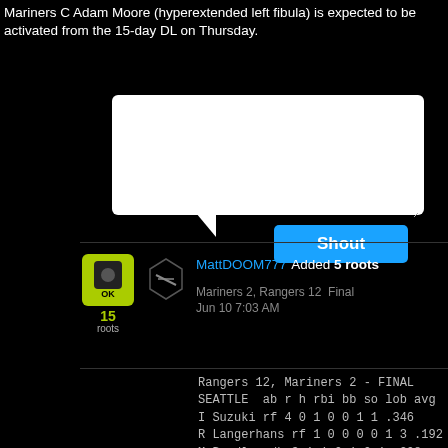Mariners C Adam Moore (hyperextended left fibula) is expected to be activated from the 15-day DL on Thursday.
[Figure (screenshot): White chat text input area with speech bubble tail and a blue Shout button]
MattDOOM777 Added 5 roots
Mariners 2, Rangers 12  Final
Jun 10 7:03 AM
Rangers 12, Mariners 2 - FINAL
SEATTLE  ab r h rbi bb so lob avg
I Suzuki rf 4 0 1 0 0 1 1 .346
R Langerhans rf 1 0 0 0 0 1 3 .192
M Bradley dh 3 1 1 0 1 0 1 .208